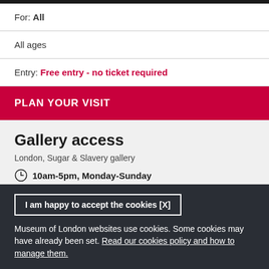For: All
All ages
Entry: Free entry - no ticket required
PLAN YOUR VISIT
Gallery access
London, Sugar & Slavery gallery
10am-5pm, Monday-Sunday
The gallery is on the third floor and is wheelchair accessible via
I am happy to accept the cookies [X]
Museum of London websites use cookies. Some cookies may have already been set. Read our cookies policy and how to manage them.